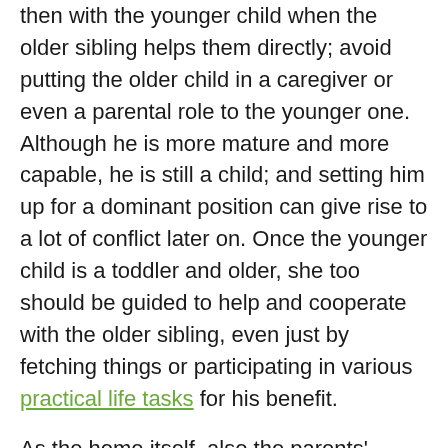then with the younger child when the older sibling helps them directly; avoid putting the older child in a caregiver or even a parental role to the younger one. Although he is more mature and more capable, he is still a child; and setting him up for a dominant position can give rise to a lot of conflict later on. Once the younger child is a toddler and older, she too should be guided to help and cooperate with the older sibling, even just by fetching things or participating in various practical life tasks for his benefit.
As the home itself, also the parents' relationship and time with the children should balance togetherness and privacy. Daily family time should ideally include at least one meal for which everyone is present, group